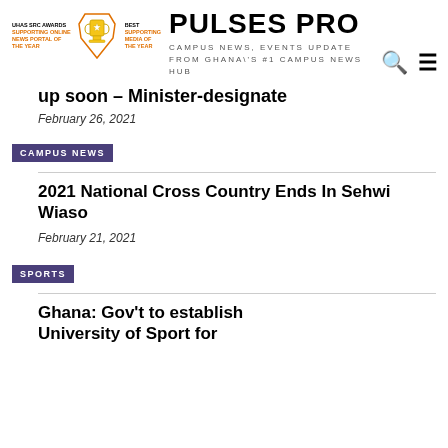PULSES PRO – CAMPUS NEWS, EVENTS UPDATE FROM GHANA'S #1 CAMPUS NEWS HUB
up soon – Minister-designate
February 26, 2021
CAMPUS NEWS
2021 National Cross Country Ends In Sehwi Wiaso
February 21, 2021
SPORTS
Ghana: Gov't to establish University of Sport for